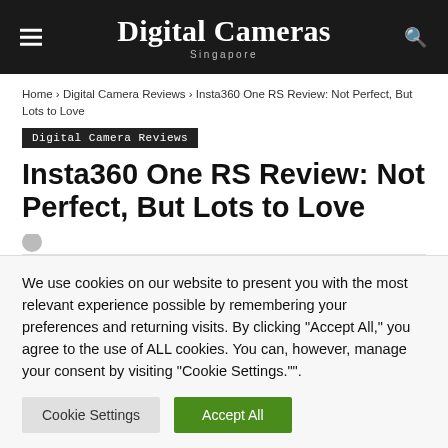Digital Cameras Singapore
Home › Digital Camera Reviews › Insta360 One RS Review: Not Perfect, But Lots to Love
Digital Camera Reviews
Insta360 One RS Review: Not Perfect, But Lots to Love
We use cookies on our website to present you with the most relevant experience possible by remembering your preferences and returning visits. By clicking "Accept All," you agree to the use of ALL cookies. You can, however, manage your consent by visiting "Cookie Settings."".
Cookie Settings | Accept All